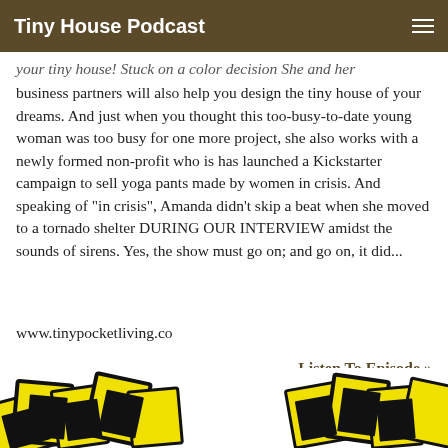Tiny House Podcast
your tiny house! Stuck on a color decision She and her business partners will also help you design the tiny house of your dreams. And just when you thought this too-busy-to-date young woman was too busy for one more project, she also works with a newly formed non-profit who is has launched a Kickstarter campaign to sell yoga pants made by women in crisis. And speaking of “in crisis”, Amanda didn’t skip a beat when she moved to a tornado shelter DURING OUR INTERVIEW amidst the sounds of sirens. Yes, the show must go on; and go on, it did...
www.tinypocketliving.co
Listen To Episode »
[Figure (illustration): Bottom portion of a yellow and black graphic/logo image, partially visible at the bottom of the page]